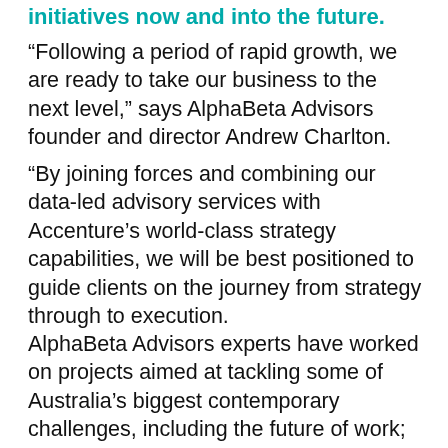initiatives now and into the future.
“Following a period of rapid growth, we are ready to take our business to the next level,” says AlphaBeta Advisors founder and director Andrew Charlton.
“By joining forces and combining our data-led advisory services with Accenture's world-class strategy capabilities, we will be best positioned to guide clients on the journey from strategy through to execution.
AlphaBeta Advisors experts have worked on projects aimed at tackling some of Australia’s biggest contemporary challenges, including the future of work; national reform programs; and technology and innovation, among many others.
Founded in 2015, AlphaBeta Advisors has a presence in Sydney, Melbourne and Canberra, and employs an experienced team of approximately 35 people with background in data analytics, economics and public...